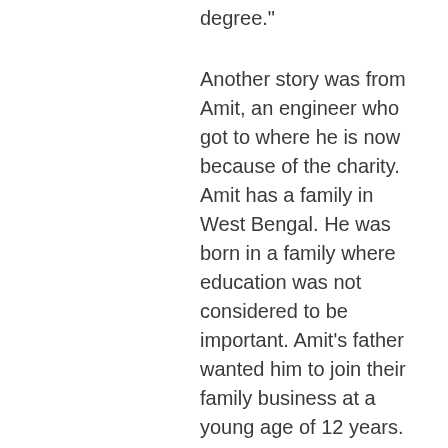degree."
Another story was from Amit, an engineer who got to where he is now because of the charity. Amit has a family in West Bengal. He was born in a family where education was not considered to be important. Amit's father wanted him to join their family business at a young age of 12 years. However, Amit didn't want to, so he ran away and arrived in Delhi where Salaam Baalak Trust supported his education to enable him to become an engineer.
Salim, another boy I spoke to, was at a very large festival with his parents when he got lost and his parents left without